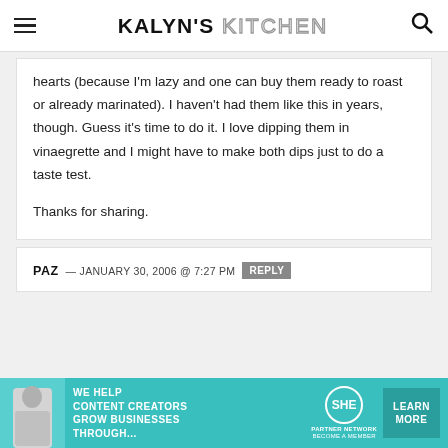KALYN'S KITCHEN
hearts (because I'm lazy and one can buy them ready to roast or already marinated). I haven't had them like this in years, though. Guess it's time to do it. I love dipping them in vinaegrette and I might have to make both dips just to do a taste test.

Thanks for sharing.
PAZ — JANUARY 30, 2006 @ 7:27 PM REPLY
[Figure (infographic): SHE Media partner network advertisement banner with teal background, text 'WE HELP CONTENT CREATORS GROW BUSINESSES THROUGH...' and a Learn More button]